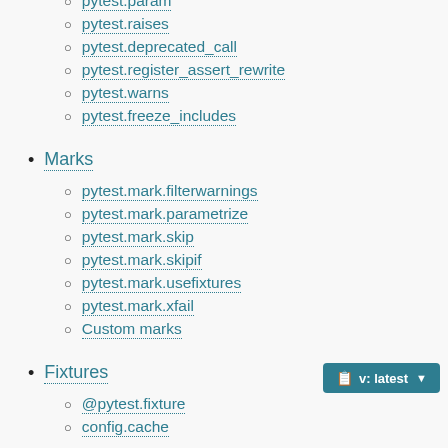pytest.param
pytest.raises
pytest.deprecated_call
pytest.register_assert_rewrite
pytest.warns
pytest.freeze_includes
Marks
pytest.mark.filterwarnings
pytest.mark.parametrize
pytest.mark.skip
pytest.mark.skipif
pytest.mark.usefixtures
pytest.mark.xfail
Custom marks
Fixtures
@pytest.fixture
config.cache
v: latest